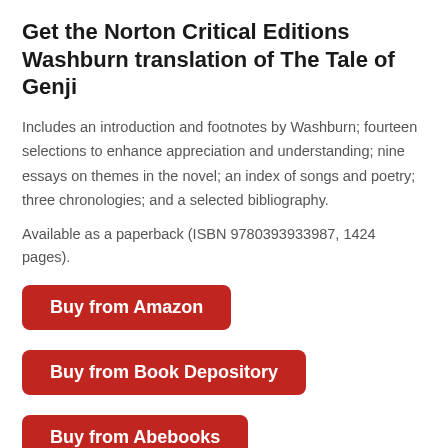Get the Norton Critical Editions Washburn translation of The Tale of Genji
Includes an introduction and footnotes by Washburn; fourteen selections to enhance appreciation and understanding; nine essays on themes in the novel; an index of songs and poetry; three chronologies; and a selected bibliography.
Available as a paperback (ISBN 9780393933987, 1424 pages).
Buy from Amazon
Buy from Book Depository
Buy from Abebooks